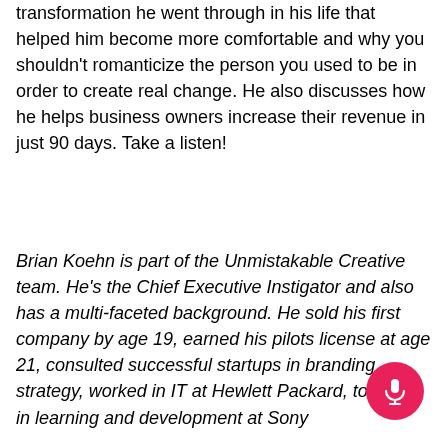transformation he went through in his life that helped him become more comfortable and why you shouldn't romanticize the person you used to be in order to create real change. He also discusses how he helps business owners increase their revenue in just 90 days. Take a listen!
Brian Koehn is part of the Unmistakable Creative team. He's the Chief Executive Instigator and also has a multi-faceted background. He sold his first company by age 19, earned his pilots license at age 21, consulted successful startups in branding strategy, worked in IT at Hewlett Packard, took part in learning and development at Sony